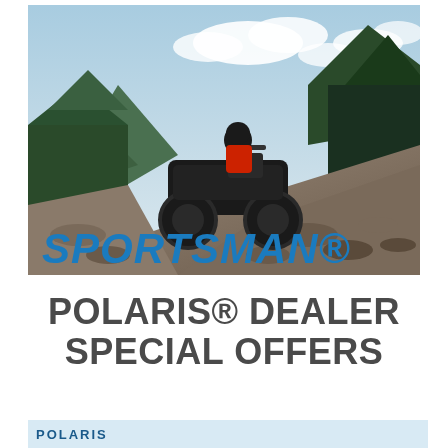[Figure (photo): ATV rider on a Polaris Sportsman ATV navigating rocky mountain terrain with mountain and forest background, blue sky with clouds. Text overlay reads SPORTSMAN® in large bold blue italic letters.]
POLARIS® DEALER SPECIAL OFFERS
[Figure (logo): Polaris logo banner at bottom of page, light blue background with Polaris brand name]